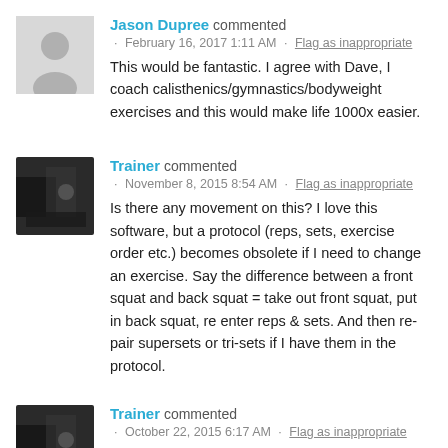Jason Dupree commented · February 16, 2017 1:11 AM · Flag as inappropriate
This would be fantastic. I agree with Dave, I coach calisthenics/gymnastics/bodyweight exercises and this would make life 1000x easier.
Trainer commented · November 8, 2015 8:54 AM · Flag as inappropriate
Is there any movement on this? I love this software, but a protocol (reps, sets, exercise order etc.) becomes obsolete if I need to change an exercise. Say the difference between a front squat and back squat = take out front squat, put in back squat, re enter reps & sets. And then re-pair supersets or tri-sets if I have them in the protocol.
Trainer commented · October 22, 2015 6:17 AM · Flag as inappropriate